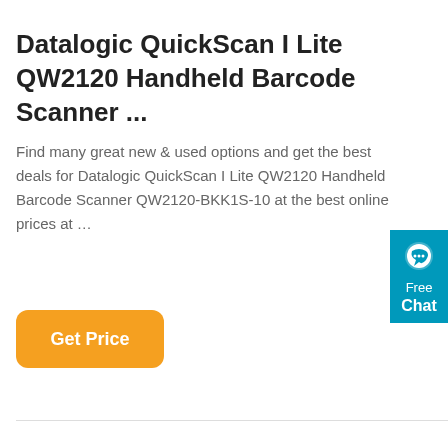Datalogic QuickScan I Lite QW2120 Handheld Barcode Scanner ...
Find many great new & used options and get the best deals for Datalogic QuickScan I Lite QW2120 Handheld Barcode Scanner QW2120-BKK1S-10 at the best online prices at …
[Figure (other): Orange rounded button labeled 'Get Price']
[Figure (other): Blue chat widget on right side showing a speech bubble icon with 'Free Chat' text]